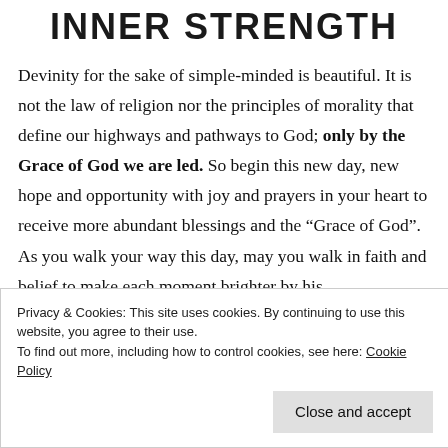INNER STRENGTH
Devinity for the sake of simple-minded is beautiful. It is not the law of religion nor the principles of morality that define our highways and pathways to God; only by the Grace of God we are led. So begin this new day, new hope and opportunity with joy and prayers in your heart to receive more abundant blessings and the “Grace of God”. As you walk your way this day, may you walk in faith and belief to make each moment brighter by his
Privacy & Cookies: This site uses cookies. By continuing to use this website, you agree to their use.
To find out more, including how to control cookies, see here: Cookie Policy